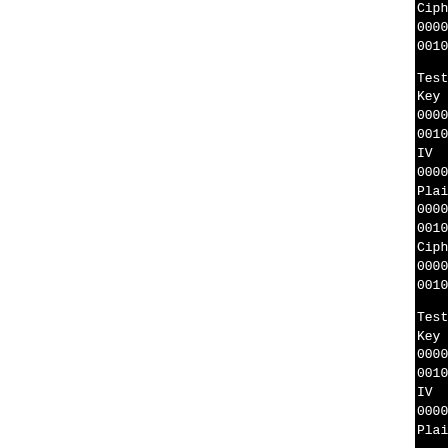Ciphertext
0000 c4 54 18 5e 6a 16 93
0010 fb 18 6f ff 74 80 ad

Testing cipher AES-128-XTS
Key
0000 ff fe fd fc fb fa f9
0010 22 22 22 22 22 22 22
IV
0000 33 33 33 33 33 00 00
Plaintext
0000 44 44 44 44 44 44 44
0010 44 44 44 44 44 44 44
Ciphertext
0000 af 85 33 6b 59 7a fc
0010 92 df 4c 04 7e 0b 21

Testing cipher AES-128-XTS
Key
0000 27 18 28 18 28 45 90
0010 31 41 59 26 53 58 97
IV
0000 00 00 00 00 00 00 00
Plaintext